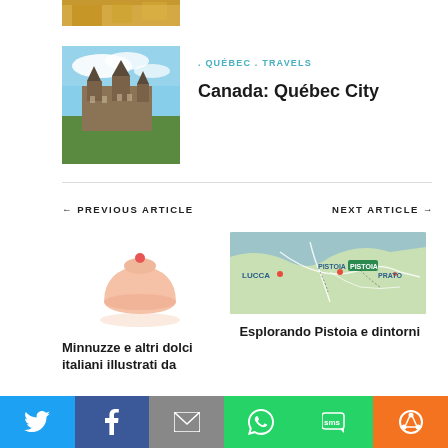[Figure (photo): Partial view of a yellow/gold building top, cropped at top of page]
[Figure (photo): Chateau Frontenac in Quebec City, viewed from a hillside with blue sky]
. QUÉBEC . TRAVELS
Canada: Québec City
← PREVIOUS ARTICLE
NEXT ARTICLE →
[Figure (illustration): Illustration of a pink bell-shaped pudding or dessert hat with a red dot on top]
[Figure (map): Map showing Lucca, Pistoia, and Prato region in Italy with roads and landmarks]
Minnuzze e altri dolci italiani illustrati da
Esplorando Pistoia e dintorni